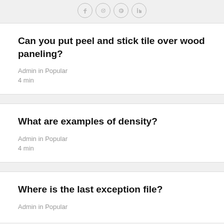[Figure (other): Row of four social share icon circles at top of page]
Can you put peel and stick tile over wood paneling?
Admin in Popular
4 min
What are examples of density?
Admin in Popular
4 min
Where is the last exception file?
Admin in Popular